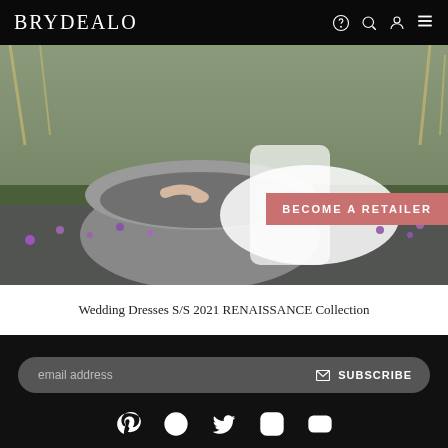BRYDEALO
[Figure (photo): Hero image of a bride in a white lace wedding dress reclining on a large curved stone seat outdoors, surrounded by purple flowers and grass. A salmon/coral colored button overlay reads 'BECOME A RETAILER'.]
Wedding Dresses S/S 2021 RENAISSANCE Collection
email address  SUBSCRIBE
[Figure (other): Social media icons row: Pinterest, Facebook, Twitter, Instagram, YouTube]